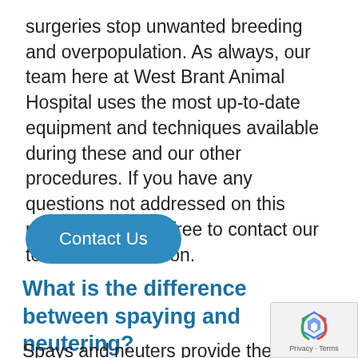surgeries stop unwanted breeding and overpopulation. As always, our team here at West Brant Animal Hospital uses the most up-to-date equipment and techniques available during these and our other procedures. If you have any questions not addressed on this page, please feel free to contact our team for clarification.
[Figure (other): Blue rounded rectangle button labeled 'Contact Us']
What is the difference between spaying and neutering?
Spays and neuters provide the same results
[Figure (other): reCAPTCHA badge showing Google reCAPTCHA logo and 'Privacy · Terms' text]